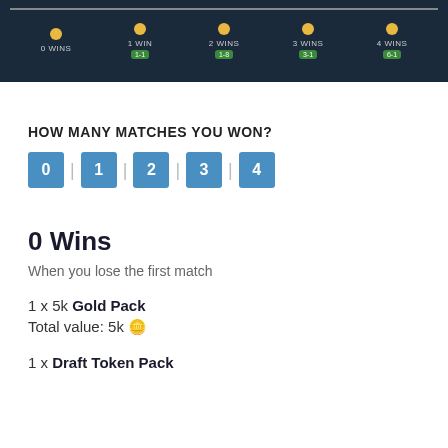[Figure (screenshot): A game UI showing a wins progress track with 5 nodes labeled 0 WINS, 1 WIN, 2 WINS, 3 WINS, 4 WINS, each with a gold dot on a horizontal line and green badges showing reward values.]
HOW MANY MATCHES YOU WON?
0 | 1 | 2 | 3 | 4
0 Wins
When you lose the first match
1 x 5k Gold Pack
Total value: 5k 🪙
1 x Draft Token Pack